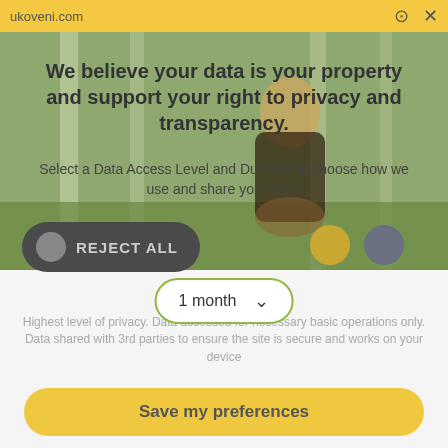ukoveni.com
We believe your data is your property and support your right to privacy and transparency.
Select a Data Access Level and Duration to choose how we use and share your data.
REJECT ALL
1 month
Hi, I'm Justyna!
Highest level of privacy. Data accessed for necessary basic operations only. Data shared with 3rd parties to ensure the site is secure and works on your device
I am an incorrigible romantic with an irrational lack of control over ordinary affairs. And as befits a romantic and female photographer, I love to capture true emotions.
Save my preferences
I'm a lover of small, inconspicuous gestures, looks full of tenderness and spontaneous